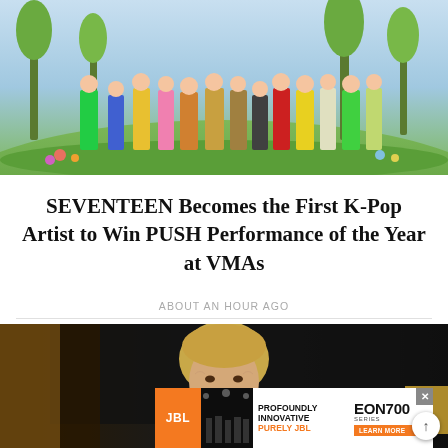[Figure (photo): Group photo of SEVENTEEN K-pop group members standing in colorful outfits against a vibrant green hill and blue sky background with tropical plants]
SEVENTEEN Becomes the First K-Pop Artist to Win PUSH Performance of the Year at VMAs
ABOUT AN HOUR AGO
[Figure (photo): Older woman with short blonde hair photographed at a dark event backdrop]
[Figure (other): JBL advertisement banner reading PROFOUNDLY INNOVATIVE PURELY JBL EON700 SERIES LEARN MORE]